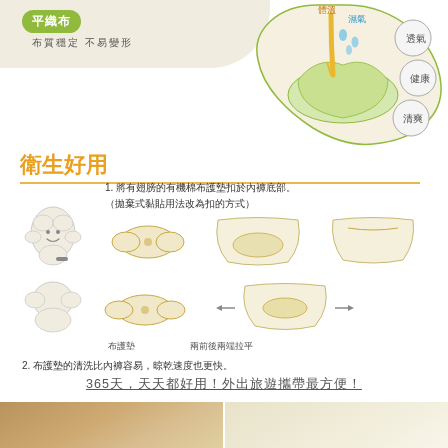[Figure (illustration): Top section with fabric texture background and organic cotton pad diagram showing body temperature and moisture flow with breathability, health, freshness labels in Chinese]
平織布
布質穩定 不易變形
衛生好用
1. 將有翅膀的有機棉布護墊扣於內褲底部。（拋棄式黏貼用法改為扣的方式）
[Figure (illustration): Row of instructional diagrams showing pad with clips, pad placed in underwear, and underwear from front view]
[Figure (illustration): Mascot figure (smiling cotton character) and pad diagrams for row 2 showing cloth pad and stretch arrows with labels 布護墊 and 兩前後兩端拉平]
2. 布護墊的清洗比內褲容易，晾乾速度也更快。
365天，天天都好用！外出旅遊攜帶最方便！
[Figure (photo): Bottom two product photos showing close-up of organic cotton pad surface]